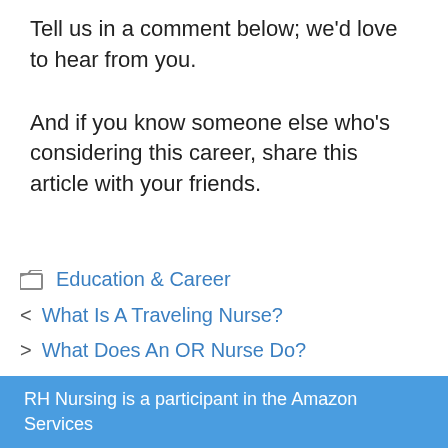Tell us in a comment below; we’d love to hear from you.
And if you know someone else who’s considering this career, share this article with your friends.
Education & Career
‹ What Is A Traveling Nurse?
› What Does An OR Nurse Do?
RH Nursing is a participant in the Amazon Services